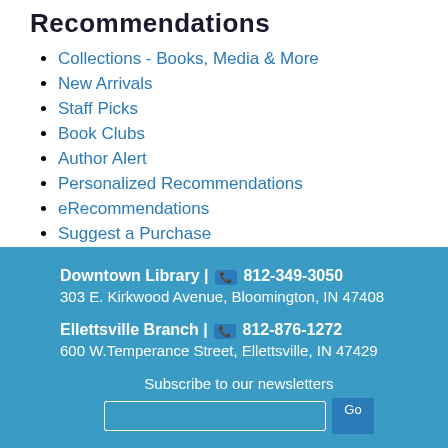Recommendations
Collections - Books, Media & More
New Arrivals
Staff Picks
Book Clubs
Author Alert
Personalized Recommendations
eRecommendations
Suggest a Purchase
Downtown Library | 812-349-3050
303 E. Kirkwood Avenue, Bloomington, IN 47408

Ellettsville Branch | 812-876-1272
600 W.Temperance Street, Ellettsville, IN 47429

Subscribe to our newsletters